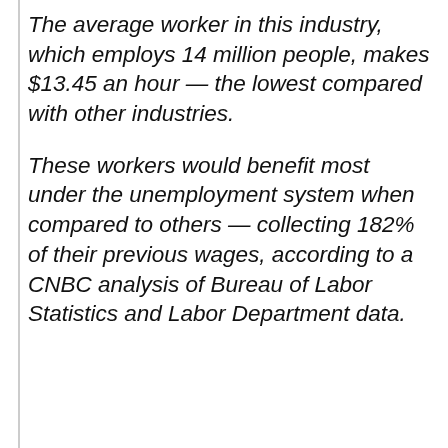The average worker in this industry, which employs 14 million people, makes $13.45 an hour — the lowest compared with other industries.
These workers would benefit most under the unemployment system when compared to others — collecting 182% of their previous wages, according to a CNBC analysis of Bureau of Labor Statistics and Labor Department data.